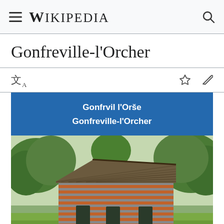Wikipedia
Gonfreville-l'Orcher
| Gonfrvil l'Orše |
| Gonfreville-l'Orcher |
[Figure (photo): Photograph of a traditional Norman timber-framed and brick-striped barn or farm building with a large thatched roof, surrounded by trees and green grass, in Gonfreville-l'Orcher.]